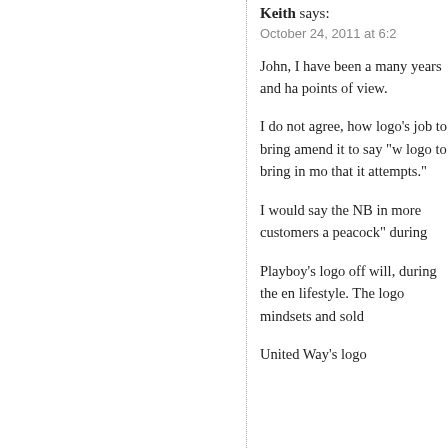Keith says:
October 24, 2011 at 6:2
John, I have been a many years and ha points of view.
I do not agree, how logo’s job to bring amend it to say “w logo to bring in mo that it attempts.”
I would say the NB in more customers a peacock” during
Playboy’s logo off will, during the en lifestyle. The logo mindsets and sold
United Way’s logo